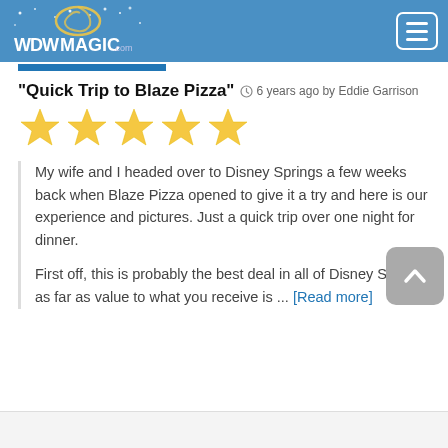WDWMagic.com header with navigation menu button
"Quick Trip to Blaze Pizza" 6 years ago by Eddie Garrison
[Figure (infographic): Five gold stars rating]
My wife and I headed over to Disney Springs a few weeks back when Blaze Pizza opened to give it a try and here is our experience and pictures. Just a quick trip over one night for dinner.

First off, this is probably the best deal in all of Disney Springs as far as value to what you receive is ... [Read more]